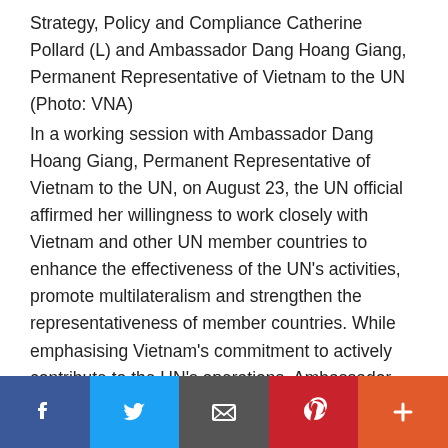Strategy, Policy and Compliance Catherine Pollard (L) and Ambassador Dang Hoang Giang, Permanent Representative of Vietnam to the UN (Photo: VNA)
In a working session with Ambassador Dang Hoang Giang, Permanent Representative of Vietnam to the UN, on August 23, the UN official affirmed her willingness to work closely with Vietnam and other UN member countries to enhance the effectiveness of the UN's activities, promote multilateralism and strengthen the representativeness of member countries. While emphasising Vietnam's commitment to actively contribute to the UN's operations, Ambassador Giang spotlighted Vietnam's efforts, especially in sending military and
[Figure (other): Social media sharing bar with Facebook, Twitter, Email, Pinterest, and plus buttons]